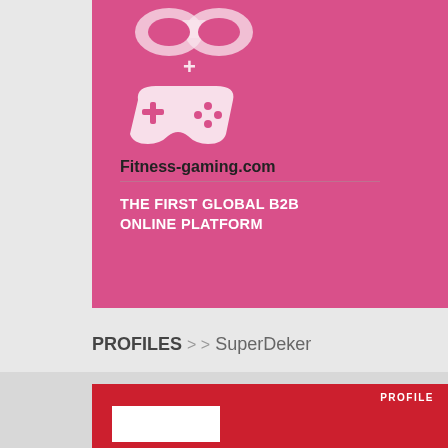[Figure (illustration): Pink/magenta card with a white gamepad/controller icon, website name 'Fitness-gaming.com', and tagline 'THE FIRST GLOBAL B2B ONLINE PLATFORM']
Fitness-gaming.com
THE FIRST GLOBAL B2B ONLINE PLATFORM
PROFILES >> SuperDeker
[Figure (screenshot): Red profile card with 'PROFILE' label in top right and a white image box in the lower left]